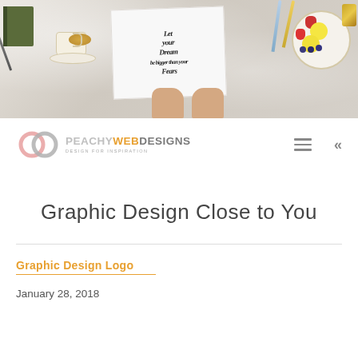[Figure (photo): Hero banner image showing a flat-lay scene on a marble surface: a dark green notebook with a pen, a gold-rimmed teacup with yellow tea on a saucer, hands holding a paper with calligraphy text 'Let your Dream be bigger than your Fears', a plate with strawberries, lemon slices and blueberries, colored pencils, and a gold bracket.]
[Figure (logo): Peachy Web Designs logo with two interlocking circles in pink/grey and the text PEACHY WEB DESIGNS with tagline DESIGN FOR INSPIRATION]
Graphic Design Close to You
Graphic Design Logo
January 28, 2018